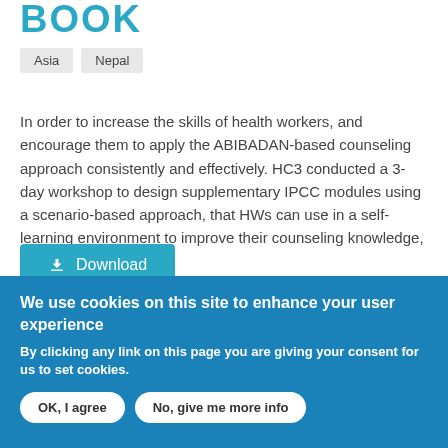BOOK
Asia
Nepal
In order to increase the skills of health workers, and encourage them to apply the ABIBADAN-based counseling approach consistently and effectively. HC3 conducted a 3-day workshop to design supplementary IPCC modules using a scenario-based approach, that HWs can use in a self-learning environment to improve their counseling knowledge, skills and
Download
We use cookies on this site to enhance your user experience
By clicking any link on this page you are giving your consent for us to set cookies.
OK, I agree
No, give me more info